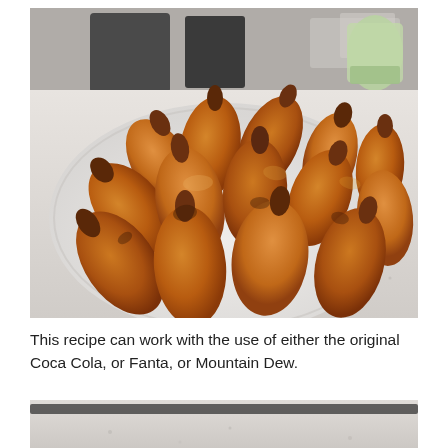[Figure (photo): A large white plate piled with many roasted/glazed chicken drumsticks and wings on a kitchen counter. The chicken pieces are golden brown and caramelized, arranged in a pile on the plate. Kitchen appliances and a container are visible in the background.]
This recipe can work with the use of either the original Coca Cola, or Fanta, or Mountain Dew.
[Figure (photo): A partially visible photo showing a kitchen counter surface, cropped at the bottom of the page.]